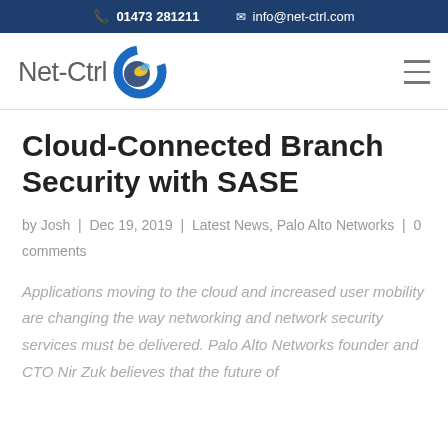📞 01473 281211   ✉ info@net-ctrl.com
[Figure (logo): Net-Ctrl logo with blue swirl icon]
Cloud-Connected Branch Security with SASE
by Josh | Dec 19, 2019 | Latest News, Palo Alto Networks | 0 comments
Applications moving to the cloud and increased user mobility are changing the way networking and network security services must be delivered. Palo Alto Networks founder and CTO Nir Zuk believes that the future of